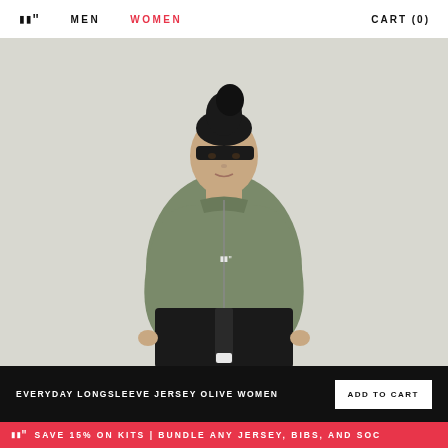GG | MEN | WOMEN | CART (0)
[Figure (photo): A woman wearing an olive green long-sleeve cycling jersey and black bibs, standing against a light grey background, looking directly at camera with hair in a high bun.]
EVERYDAY LONGSLEEVE JERSEY OLIVE WOMEN
ADD TO CART
GG | SAVE 15% ON KITS | BUNDLE ANY JERSEY, BIBS, AND SOC...